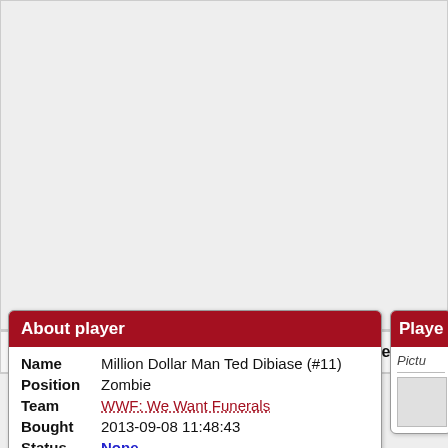[Figure (screenshot): Gray background area representing a webpage header/banner region]
Login | Home | Teams | Coaches | Matches | Statistics | Plugins
| Field | Value |
| --- | --- |
| Name | Million Dollar Man Ted Dibiase (#11) |
| Position | Zombie |
| Team | WWF: We Want Funerals |
| Bought | 2013-09-08 11:48:43 |
| Status | None |
| Value | 40k |
About player
Playe